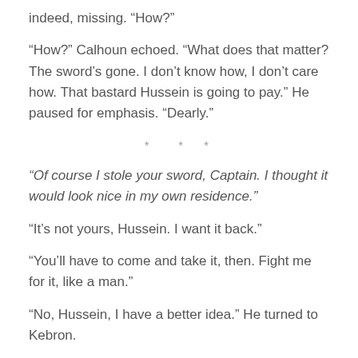indeed, missing. “How?”
“How?” Calhoun echoed. “What does that matter? The sword’s gone. I don’t know how, I don’t care how. That bastard Hussein is going to pay.” He paused for emphasis. “Dearly.”
* * *
“Of course I stole your sword, Captain. I thought it would look nice in my own residence.”
“It’s not yours, Hussein. I want it back.”
“You’ll have to come and take it, then. Fight me for it, like a man.”
“No, Hussein, I have a better idea.” He turned to Kebron.